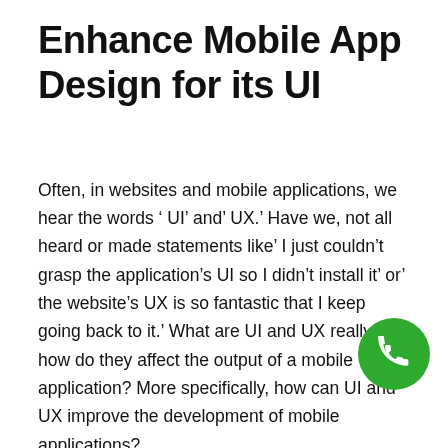Enhance Mobile App Design for its UI
Often, in websites and mobile applications, we hear the words ‘ UI’ and’ UX.’ Have we, not all heard or made statements like’ I just couldn’t grasp the application’s UI so I didn’t install it’ or’ the website’s UX is so fantastic that I keep going back to it.’ What are UI and UX really and how do they affect the output of a mobile application? More specifically, how can UI and UX improve the development of mobile applications?
Mobile App Development Qatar will discuss the vital aspects of a mobile application’s UI and UX
[Figure (other): Green circular phone/call button icon in bottom-right area of page]